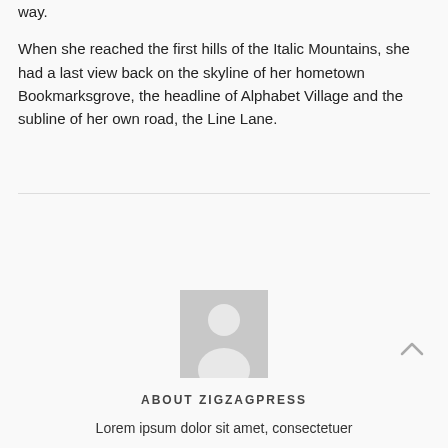way.
When she reached the first hills of the Italic Mountains, she had a last view back on the skyline of her hometown Bookmarksgrove, the headline of Alphabet Village and the subline of her own road, the Line Lane.
[Figure (illustration): Gray placeholder avatar/person silhouette icon in a square]
ABOUT ZIGZAGPRESS
Lorem ipsum dolor sit amet, consectetuer